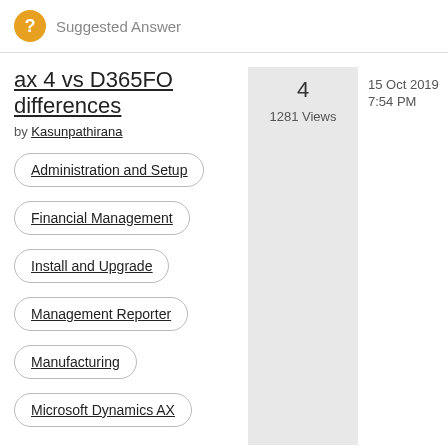Suggested Answer
ax 4 vs D365FO differences
by Kasunpathirana
4
1281 Views
15 Oct 2019
7:54 PM
Administration and Setup
Financial Management
Install and Upgrade
Management Reporter
Manufacturing
Microsoft Dynamics AX